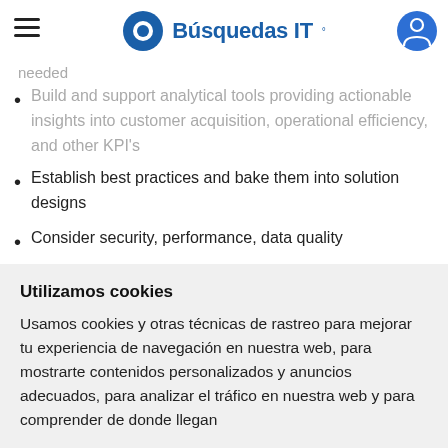Búsquedas IT
needed
Build and support analytical tools providing actionable insights into customer acquisition, operational efficiency, and other KPI's
Establish best practices and bake them into solution designs
Consider security, performance, data quality
Create POCs to kickstart the development for the team
Utilizamos cookies
Usamos cookies y otras técnicas de rastreo para mejorar tu experiencia de navegación en nuestra web, para mostrarte contenidos personalizados y anuncios adecuados, para analizar el tráfico en nuestra web y para comprender de donde llegan